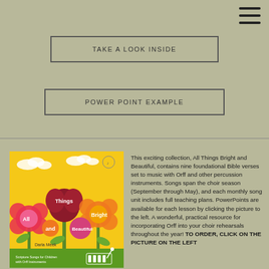TAKE A LOOK INSIDE
POWER POINT EXAMPLE
[Figure (illustration): Book cover of 'All Things Bright and Beautiful' by Darla Meek — colorful flowers with text petals on a yellow background, subtitled 'Scripture Songs for Children with Orff Instruments']
This exciting collection, All Things Bright and Beautiful, contains nine foundational Bible verses set to music with Orff and other percussion instruments. Songs span the choir season (September through May), and each monthly song unit includes full teaching plans. PowerPoints are available for each lesson by clicking the picture to the left. A wonderful, practical resource for incorporating Orff into your choir rehearsals throughout the year! TO ORDER, CLICK ON THE PICTURE ON THE LEFT